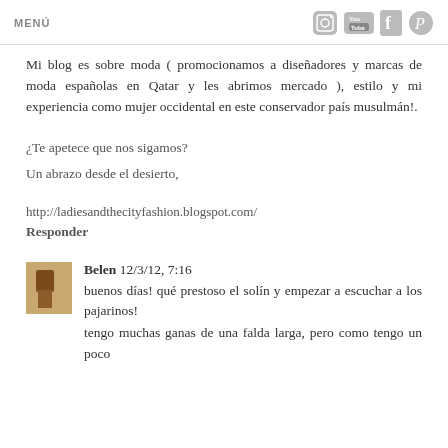MENÚ
Mi blog es sobre moda ( promocionamos a diseñadores y marcas de moda españolas en Qatar y les abrimos mercado ), estilo y mi experiencia como mujer occidental en este conservador país musulmán!.
¿Te apetece que nos sigamos?
Un abrazo desde el desierto,
http://ladiesandthecityfashion.blogspot.com/
Responder
Belen 12/3/12, 7:16
buenos días! qué prestoso el solín y empezar a escuchar a los pajarinos!
tengo muchas ganas de una falda larga, pero como tengo un poco